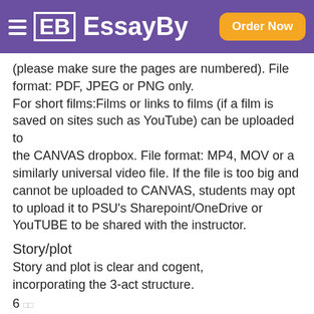EssayBy — Order Now
(please make sure the pages are numbered). File format: PDF, JPEG or PNG only.
For short films:Films or links to films (if a film is saved on sites such as YouTube) can be uploaded to the CANVAS dropbox. File format: MP4, MOV or a similarly universal video file. If the file is too big and cannot be uploaded to CANVAS, students may opt to upload it to PSU's Sharepoint/OneDrive or YouTUBE to be shared with the instructor.
Story/plot
Story and plot is clear and cogent, incorporating the 3-act structure.
6 □□
Excellent
3 □□
Good/Satisfactory
0 □□